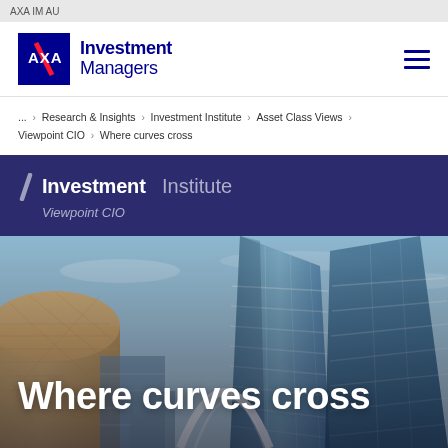AXA IM AU
[Figure (logo): AXA Investment Managers logo with dark blue AXA shield and 'Investment Managers' text]
... > Research & Insights > Investment Institute > Asset Class Views > Viewpoint CIO > Where curves cross
Investment Institute — Viewpoint CIO
Where curves cross
[Figure (photo): Upward view of modern glass skyscrapers against a blue sky, city financial district buildings]